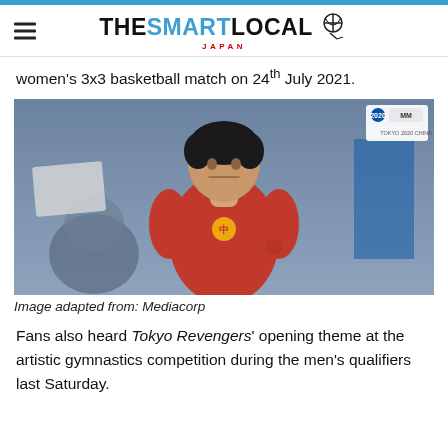THE SMART LOCAL JAPAN
women's 3x3 basketball match on 24th July 2021.
[Figure (photo): A male gymnast in a red Chinese national team leotard standing at an artistic gymnastics competition, with a crowd and blue background behind him. Tokyo 2020 Olympics badge visible top right.]
Image adapted from: Mediacorp
Fans also heard Tokyo Revengers' opening theme at the artistic gymnastics competition during the men's qualifiers last Saturday.